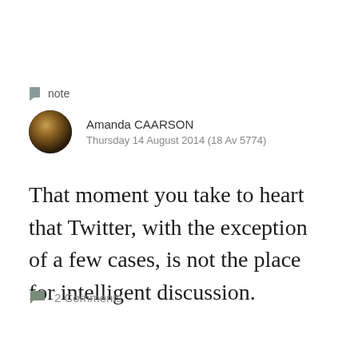note
Amanda CAARSON
Thursday 14 August 2014 (18 Av 5774)
That moment you take to heart that Twitter, with the exception of a few cases, is not the place for intelligent discussion.
2 Comments